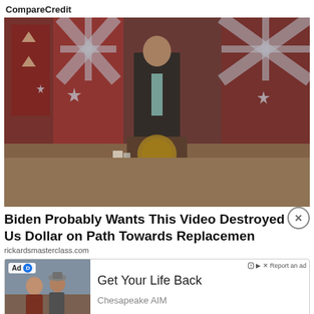CompareCredit
[Figure (photo): A figure in a dark suit standing at a presidential podium with the presidential seal, surrounded by multiple flags including American and Australian flags, with a small cocktail table nearby holding a cup.]
Biden Probably Wants This Video Destroyed - Us Dollar on Path Towards Replacemen
rickardsmasterclass.com
[Figure (infographic): An advertisement showing two elderly people outdoors with the text 'Get Your Life Back', brand 'Chesapeake AIM', and a 'Contact Us' call to action button. Marked as 'Ad' with a report ad option.]